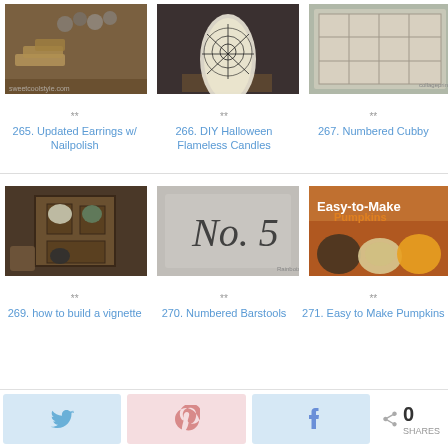[Figure (photo): Photo of updated earrings with nail polish - antique keys and jewelry on brown background]
**
265. Updated Earrings w/ Nailpolish
[Figure (photo): DIY Halloween flameless candle with spider web design]
**
266. DIY Halloween Flameless Candles
[Figure (photo): Numbered cubby shelf with various decorative items]
**
267. Numbered Cubby
[Figure (photo): How to build a vignette - wooden crate with fall plants and pumpkins]
**
269. how to build a vignette
[Figure (photo): Numbered barstools - gray fabric with No. 5 stenciled on it]
**
270. Numbered Barstools
[Figure (photo): Easy to Make Pumpkins - decorative fabric pumpkins in orange and neutral tones]
**
271. Easy to Make Pumpkins
0 SHARES